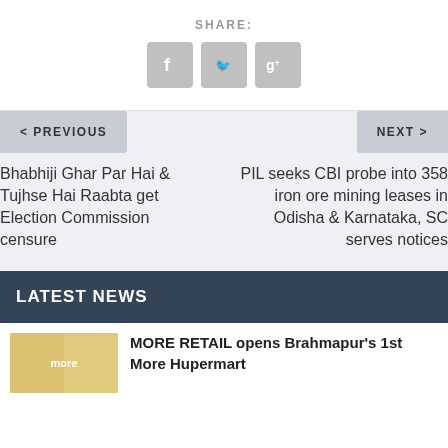SHARE:
[Figure (other): Social share icons for Facebook, Twitter, and Google+]
< PREVIOUS
NEXT >
Bhabhiji Ghar Par Hai & Tujhse Hai Raabta get Election Commission censure
PIL seeks CBI probe into 358 iron ore mining leases in Odisha & Karnataka, SC serves notices
LATEST NEWS
MORE RETAIL opens Brahmapur's 1st More Hupermart